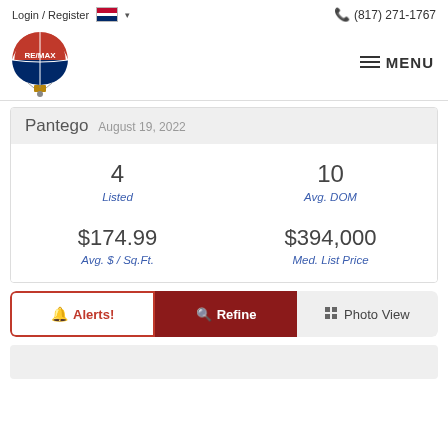Login / Register   (817) 271-1767
[Figure (logo): RE/MAX hot air balloon logo]
MENU
Pantego  August 19, 2022
| 4 | 10 |
| Listed | Avg. DOM |
| $174.99 | $394,000 |
| Avg. $ / Sq.Ft. | Med. List Price |
Alerts!  Refine  Photo View